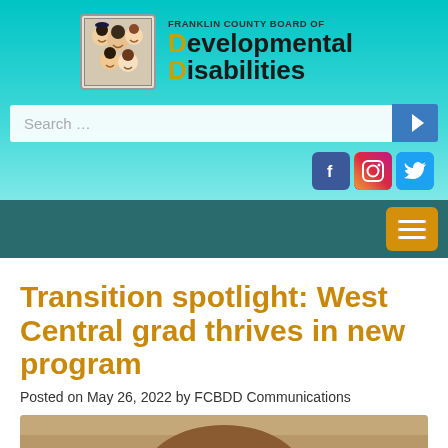[Figure (logo): Franklin County Board of Developmental Disabilities logo with group photo of faces]
Posted on May 26, 2022 by FCBDD Communications
Transition spotlight: West Central grad thrives in new program
[Figure (photo): Partial photo of a person at the bottom of the page]